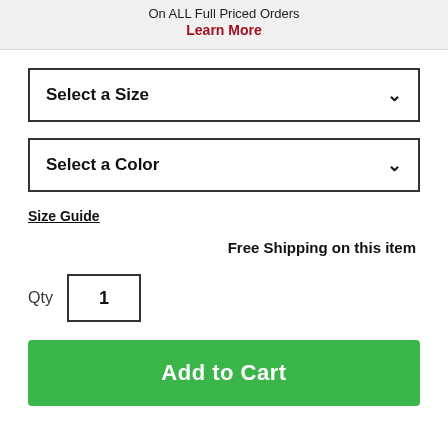On ALL Full Priced Orders
Learn More
Select a Size
Select a Color
Size Guide
Free Shipping on this item
Qty  1
Add to Cart